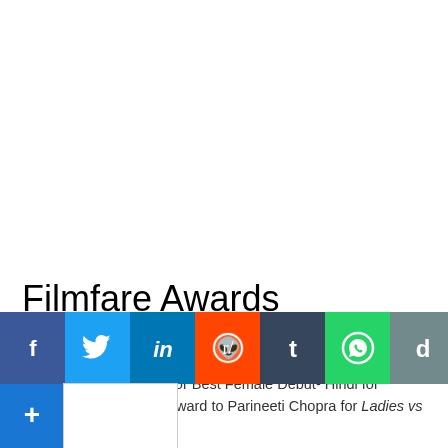Filmfare Awards nominations
2012 – Filmfare Award for Best Female Debut- Hindi for Singham. She lost the award to Parineeti Chopra for Ladies vs Ricky Bahl.
[Figure (other): Social media share buttons bar: Facebook, Twitter, LinkedIn, Reddit, Tumblr, WhatsApp, Digg, Pocket, Copy Link, Email, and a plus/more button with share count box]